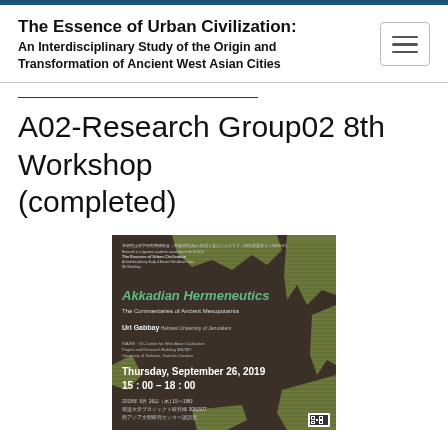The Essence of Urban Civilization: An Interdisciplinary Study of the Origin and Transformation of Ancient West Asian Cities
A02-Research Group02 8th Workshop (completed)
[Figure (illustration): Event poster for 'Akkadian Hermeneutics: The Commentaries of Ancient Mesopotamia' by Uri Gabbay, Hebrew University of Jerusalem. Thursday, September 26, 2019, 15:00-18:00. Shows cuneiform tablet texture on olive green background with torn paper effect revealing dark knitted/woven texture. Also contains Japanese text with venue details: 筑波大学プロジェクト研究棟 306/307 西アジア文明研究センター談話室.]